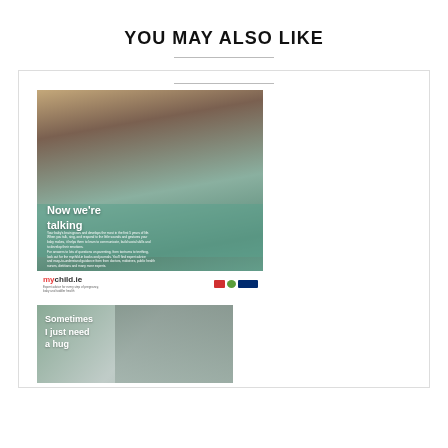YOU MAY ALSO LIKE
[Figure (photo): Photo of a father leaning over and smiling at a newborn baby, with text overlay 'Now we're talking', small body text, mychild.ie logo, and partner logos at bottom]
[Figure (photo): Photo of a person being hugged, with text overlay 'Sometimes I just need a hug']